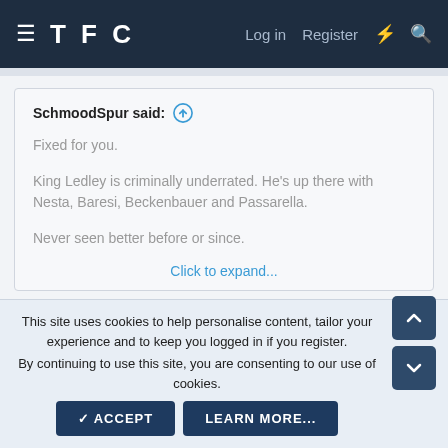TFC   Log in   Register
SchmoodSpur said:
Fixed for you.
King Ledley is criminally underrated. He's up there with Nesta, Baresi, Beckenbauer and Passarella.
Never seen better before or since.
Click to expand...
Just looked on YouTube and I think today, Robben is
This site uses cookies to help personalise content, tailor your experience and to keep you logged in if you register.
By continuing to use this site, you are consenting to our use of cookies.
ACCEPT   LEARN MORE...